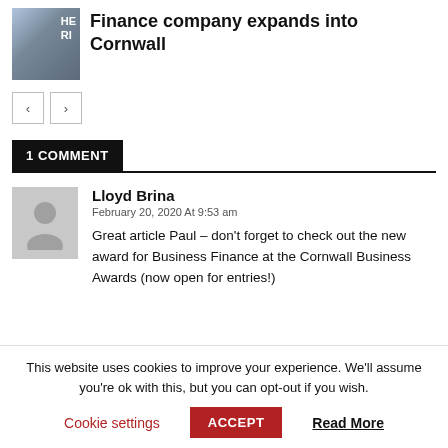[Figure (photo): Thumbnail photo of a man in front of a blue sign with partial text 'HE' and 'RI']
Finance company expands into Cornwall
< >
1 COMMENT
[Figure (photo): Grey avatar silhouette placeholder for user Lloyd Brina]
Lloyd Brina
February 20, 2020 At 9:53 am
Great article Paul – don't forget to check out the new award for Business Finance at the Cornwall Business Awards (now open for entries!)
This website uses cookies to improve your experience. We'll assume you're ok with this, but you can opt-out if you wish.
Cookie settings   ACCEPT   Read More